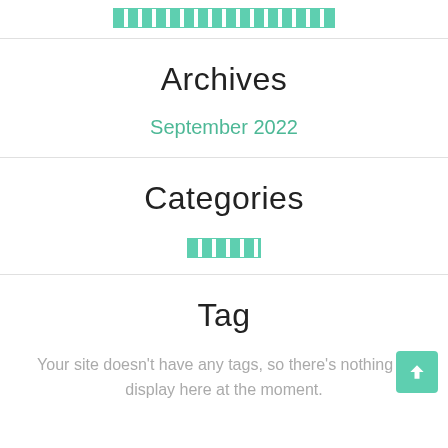[decorative strip]
Archives
September 2022
Categories
[decorative strip / category link]
Tag
Your site doesn't have any tags, so there's nothing to display here at the moment.